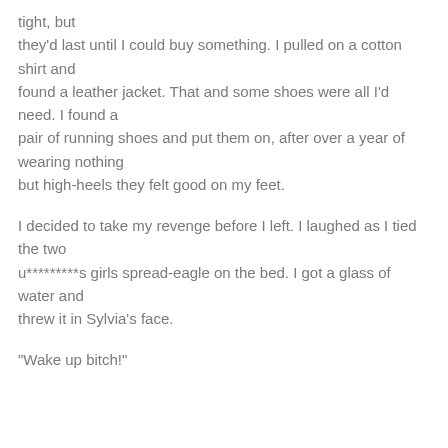tight, but they'd last until I could buy something. I pulled on a cotton shirt and found a leather jacket. That and some shoes were all I'd need. I found a pair of running shoes and put them on, after over a year of wearing nothing but high-heels they felt good on my feet.
I decided to take my revenge before I left. I laughed as I tied the two u*********s girls spread-eagle on the bed. I got a glass of water and threw it in Sylvia's face.
“Wake up bitch!”